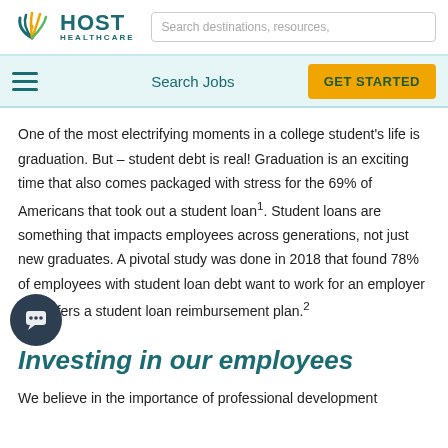HOST HEALTHCARE — Search destinations, resources,
Search Jobs | GET STARTED
One of the most electrifying moments in a college student's life is graduation. But – student debt is real! Graduation is an exciting time that also comes packaged with stress for the 69% of Americans that took out a student loan¹. Student loans are something that impacts employees across generations, not just new graduates. A pivotal study was done in 2018 that found 78% of employees with student loan debt want to work for an employer that offers a student loan reimbursement plan.²
Investing in our employees
We believe in the importance of professional development